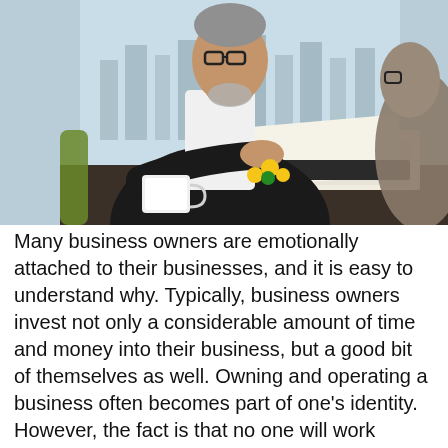[Figure (photo): An older businessman in a black suit reviewing documents at a table with another person. A coffee cup and yellow flowers are visible on the table. City skyline visible through windows in background.]
Many business owners are emotionally attached to their businesses, and it is easy to understand why. Typically, business owners invest not only a considerable amount of time and money into their business, but a good bit of themselves as well. Owning and operating a business often becomes part of one's identity. However, the fact is that no one will work forever, as retirement eventually comes for almost every business owner. With this in mind, it is important to prepare for selling your business well in advance.